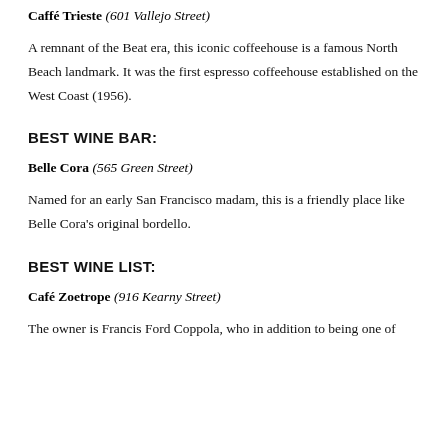Caffé Trieste (601 Vallejo Street)
A remnant of the Beat era, this iconic coffeehouse is a famous North Beach landmark. It was the first espresso coffeehouse established on the West Coast (1956).
BEST WINE BAR:
Belle Cora (565 Green Street)
Named for an early San Francisco madam, this is a friendly place like Belle Cora's original bordello.
BEST WINE LIST:
Café Zoetrope (916 Kearny Street)
The owner is Francis Ford Coppola, who in addition to being one of